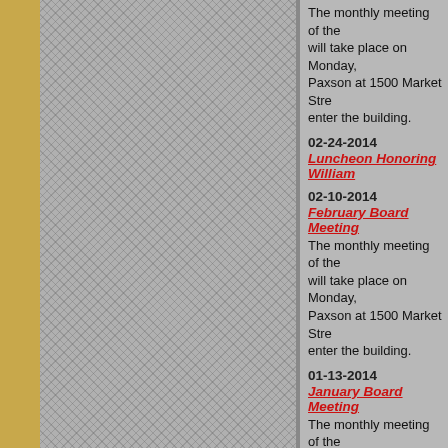The monthly meeting of the will take place on Monday, Paxson at 1500 Market Stre enter the building.
02-24-2014
Luncheon Honoring William
02-10-2014
February Board Meeting
The monthly meeting of the will take place on Monday, Paxson at 1500 Market Stre enter the building.
01-13-2014
January Board Meeting
The monthly meeting of the will take place on Monday, Paxson at 1500 Market Stre enter the building.
01-07-2014
Philadelphia Bar Associatio Society Chancellor William
All members of the Philade complimentary reception in of the Philadelphia Bar Ass